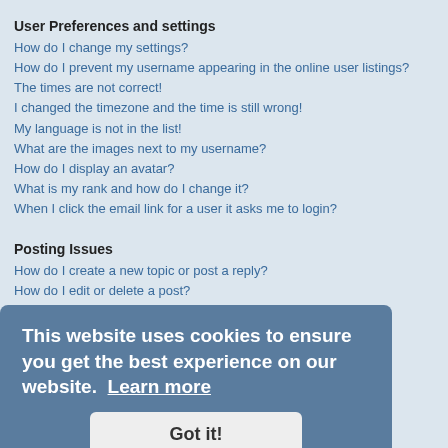User Preferences and settings
How do I change my settings?
How do I prevent my username appearing in the online user listings?
The times are not correct!
I changed the timezone and the time is still wrong!
My language is not in the list!
What are the images next to my username?
How do I display an avatar?
What is my rank and how do I change it?
When I click the email link for a user it asks me to login?
Posting Issues
How do I create a new topic or post a reply?
How do I edit or delete a post?
How do I add a signature to my post?
How do I create a poll?
Why can't I add more poll options?
How do I edit or delete a poll?
Why can't I access a forum?
Why can't I add attachments?
Why did I receive a warning?
How can I report posts to a moderator?
What is the "Save" button for in topic posting?
Why does my post need to be approved?
How do I bump my topic?
Formatting and Topic Types
What is BBCode?
[Figure (screenshot): Cookie consent banner overlay with text 'This website uses cookies to ensure you get the best experience on our website. Learn more' and a 'Got it!' button]